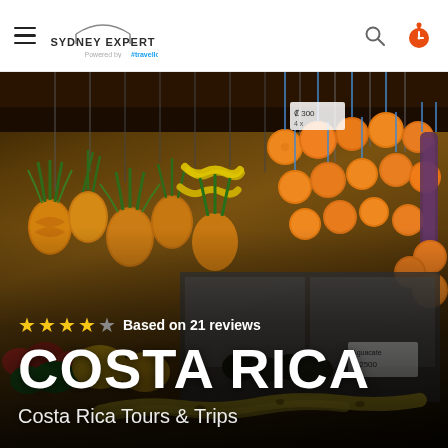Sydney Expert powered by #travello
[Figure (photo): A vibrant fruit market with pineapples, oranges, bananas and other tropical fruits hanging from the ceiling and displayed on stalls, typical of a Costa Rica market scene.]
Based on 21 reviews
COSTA RICA
Costa Rica Tours & Trips